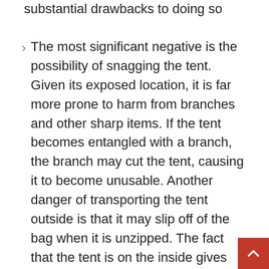substantial drawbacks to doing so
The most significant negative is the possibility of snagging the tent. Given its exposed location, it is far more prone to harm from branches and other sharp items. If the tent becomes entangled with a branch, the branch may cut the tent, causing it to become unusable. Another danger of transporting the tent outside is that it may slip off of the bag when it is unzipped. The fact that the tent is on the inside gives you the confidence that everything is secure. However, if you